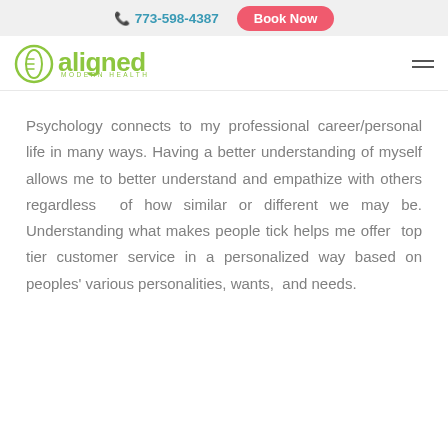📞 773-598-4387   Book Now
[Figure (logo): Aligned Modern Health logo — green circular spine icon with 'aligned' in green text and 'MODERN HEALTH' subtitle]
Psychology connects to my professional career/personal life in many ways. Having a better understanding of myself allows me to better understand and empathize with others regardless of how similar or different we may be. Understanding what makes people tick helps me offer top tier customer service in a personalized way based on peoples' various personalities, wants, and needs.